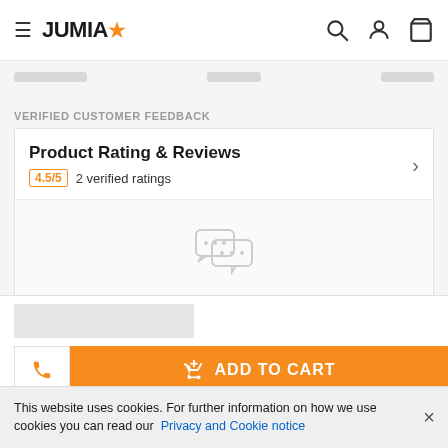JUMIA
VERIFIED CUSTOMER FEEDBACK
Product Rating & Reviews
4.5/5 2 verified ratings
[Figure (illustration): Chat bubbles icon indicating no comments]
Customers who have bought this product have not yet posted comments.
ADD TO CART
This website uses cookies. For further information on how we use cookies you can read our Privacy and Cookie notice